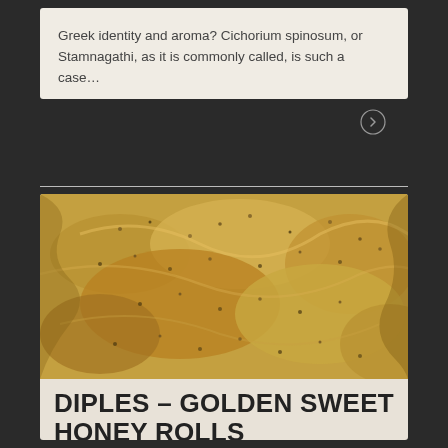Greek identity and aroma? Cichorium spinosum, or Stamnagathi, as it is commonly called, is such a case…
[Figure (photo): Close-up photo of Diples – golden fried pastry rolls coated with honey and sesame seeds]
DIPLES – GOLDEN SWEET HONEY ROLLS
04.10.2018 in Gastronomy